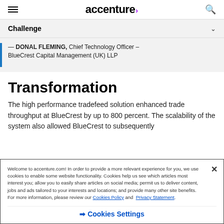accenture
Challenge
— DONAL FLEMING, Chief Technology Officer – BlueCrest Capital Management (UK) LLP
Transformation
The high performance tradefeed solution enhanced trade throughput at BlueCrest by up to 800 percent. The scalability of the system also allowed BlueCrest to subsequently
Welcome to accenture.com! In order to provide a more relevant experience for you, we use cookies to enable some website functionality. Cookies help us see which articles most interest you; allow you to easily share articles on social media; permit us to deliver content, jobs and ads tailored to your interests and locations; and provide many other site benefits. For more information, please review our Cookies Policy and Privacy Statement.
Cookies Settings